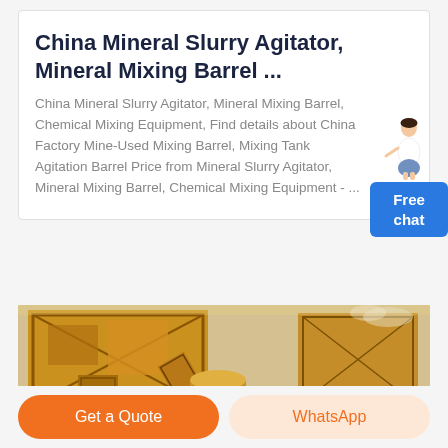China Mineral Slurry Agitator, Mineral Mixing Barrel ...
China Mineral Slurry Agitator, Mineral Mixing Barrel, Chemical Mixing Equipment, Find details about China Factory Mine-Used Mixing Barrel, Mixing Tank Agitation Barrel Price from Mineral Slurry Agitator, Mineral Mixing Barrel, Chemical Mixing Equipment - ...
[Figure (photo): Industrial mining/mineral processing equipment - large yellow/orange metal structures, conveyor belts, silos and processing machinery at a mine site]
Get a Quote
WhatsApp